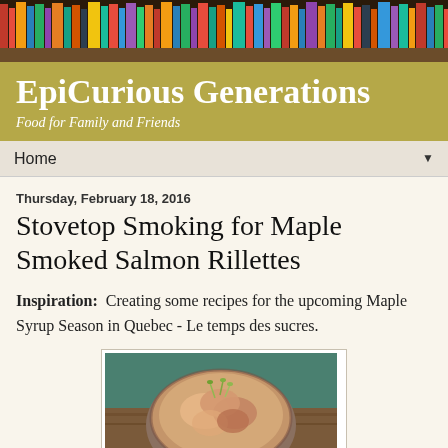[Figure (photo): Colorful bookshelf banner at the top of the page with books of various colors and sizes]
EpiCurious Generations
Food for Family and Friends
Home ▼
Thursday, February 18, 2016
Stovetop Smoking for Maple Smoked Salmon Rillettes
Inspiration:  Creating some recipes for the upcoming Maple Syrup Season in Quebec - Le temps des sucres.
[Figure (photo): A bowl of maple smoked salmon rillettes garnished with sprouts, photographed from above on a wooden surface with a teal/green background]